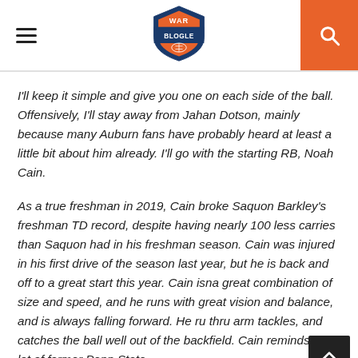War Blogle
I'll keep it simple and give you one on each side of the ball. Offensively, I'll stay away from Jahan Dotson, mainly because many Auburn fans have probably heard at least a little bit about him already. I'll go with the starting RB, Noah Cain.
As a true freshman in 2019, Cain broke Saquon Barkley's freshman TD record, despite having nearly 100 less carries than Saquon had in his freshman season. Cain was injured in his first drive of the season last year, but he is back and off to a great start this year. Cain isna great combination of size and speed, and he runs with great vision and balance, and is always falling forward. He ru thru arm tackles, and catches the ball well out of the backfield. Cain reminds me a lot of former Penn State